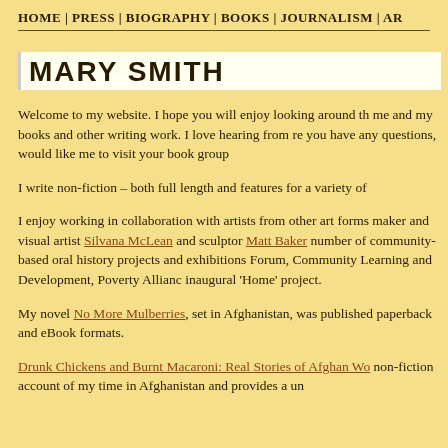HOME | PRESS | BIOGRAPHY | BOOKS | JOURNALISM | AR
MARY SMITH
Welcome to my website. I hope you will enjoy looking around th me and my books and other writing work. I love hearing from re you have any questions, would like me to visit your book group
I write non-fiction – both full length and features for a variety of
I enjoy working in collaboration with artists from other art forms maker and visual artist Silvana McLean and sculptor Matt Baker number of community-based oral history projects and exhibitions Forum, Community Learning and Development, Poverty Allianc inaugural 'Home' project.
My novel No More Mulberries, set in Afghanistan, was published paperback and eBook formats.
Drunk Chickens and Burnt Macaroni: Real Stories of Afghan Wo non-fiction account of my time in Afghanistan and provides a un